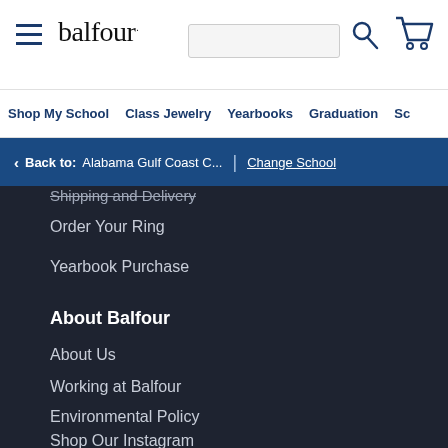balfour.
Shop My School | Class Jewelry | Yearbooks | Graduation | Sc
< Back to: Alabama Gulf Coast C... | Change School
Shipping and Delivery
Order Your Ring
Yearbook Purchase
About Balfour
About Us
Working at Balfour
Environmental Policy
Shop Our Instagram
School Solutions